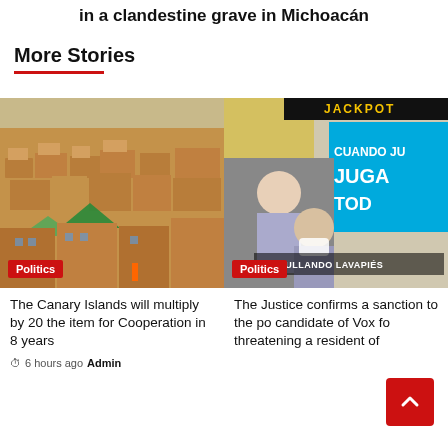in a clandestine grave in Michoacán
More Stories
[Figure (photo): Aerial view of a desert town with sandy buildings and tents, with a Politics badge overlay]
[Figure (photo): Two men in masks on a street with a 'JACKPOT' sign and billboard reading 'CUANDO JU... JUGA... PATRULLANDO LAVAPIÉS' with a Politics badge]
The Canary Islands will multiply by 20 the item for Cooperation in 8 years
6 hours ago  Admin
The Justice confirms a sanction to the po... candidate of Vox fo... threatening a resident of